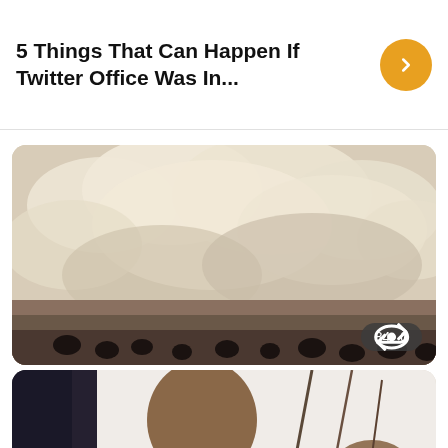5 Things That Can Happen If Twitter Office Was In...
[Figure (photo): Aerial or ground-level photo looking up at people standing against a cloudy sky backdrop, sepia/warm toned. Stats overlay shows 84 views and 0 shares.]
4 Things People Bond Over On The Internet
[Figure (photo): Partial photo showing a man in a white shirt in profile view with hands clasped, partially visible at bottom of page.]